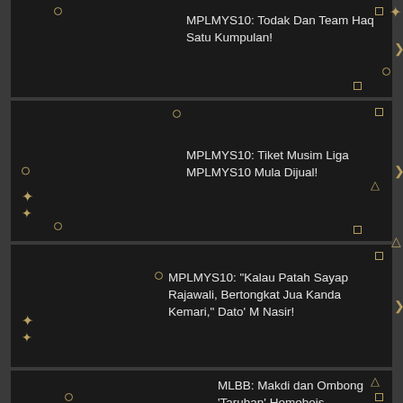MPLMYS10: Todak Dan Team Haq Satu Kumpulan!
MPLMYS10: Tiket Musim Liga MPLMYS10 Mula Dijual!
MPLMYS10: "Kalau Patah Sayap Rajawali, Bertongkat Jua Kanda Kemari," Dato' M Nasir!
MLBB: Makdi dan Ombong 'Taruhan' Homebois MPLMYS10